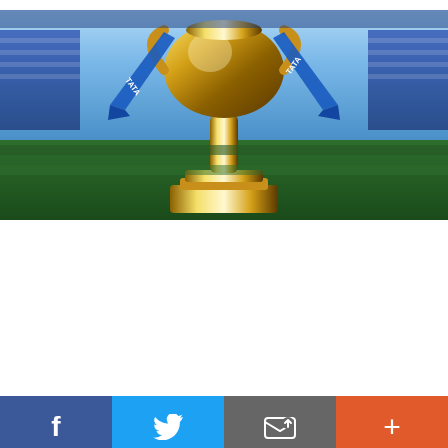[Figure (photo): IPL trophy (gold cup) with blue TATA ribbons on a cricket stadium pitch, close-up shot with stadium stands visible in background]
Dream 11 Fantasy Cricket tips for IPL 2022 – Royal Challengers Bangalore vs Rajasthan Royals
PREVIOUS
NEXT
Comments  Community  Privacy Policy
1  Login